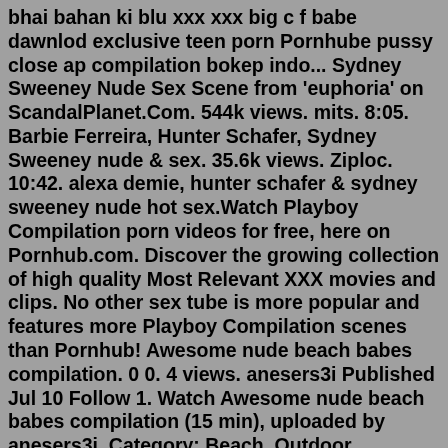bhai bahan ki blu xxx xxx big c f babe dawnlod exclusive teen porn Pornhube pussy close ap compilation bokep indo... Sydney Sweeney Nude Sex Scene from 'euphoria' on ScandalPlanet.Com. 544k views. mits. 8:05. Barbie Ferreira, Hunter Schafer, Sydney Sweeney nude & sex. 35.6k views. Ziploc. 10:42. alexa demie, hunter schafer & sydney sweeney nude hot sex.Watch Playboy Compilation porn videos for free, here on Pornhub.com. Discover the growing collection of high quality Most Relevant XXX movies and clips. No other sex tube is more popular and features more Playboy Compilation scenes than Pornhub! Awesome nude beach babes compilation. 0 0. 4 views. anesers3i Published Jul 10 Follow 1. Watch Awesome nude beach babes compilation (15 min), uploaded by anesers3i. Category: Beach, Outdoor ...Playboy Model Compilation Talebi Ile Ilgili Arama Sonuçları ... En çok yorum alan; En beğenilen; hd 5:33. Laura On Heels model compilation 2021 video of multiple ... Best Tik tok Nude & Porn Teens Compilation #20...